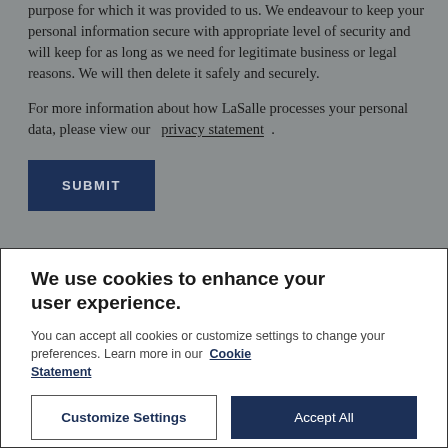purpose for which it was provided to us. We endeavour to keep your personal information secure with appropriate level of security and will keep for as long as we need for legitimate business or legal reasons. We will then delete it safely and securely.
For more information about how LaSalle processes your personal data, please view our  privacy statement  .
SUBMIT
We use cookies to enhance your user experience.
You can accept all cookies or customize settings to change your preferences. Learn more in our  Cookie Statement